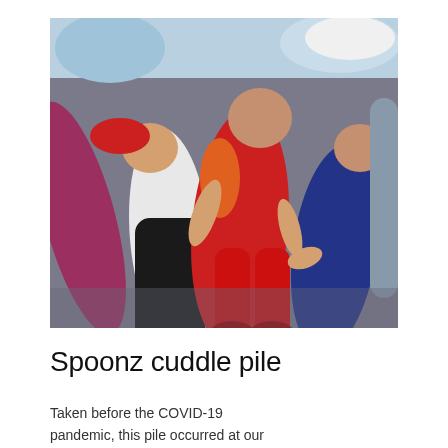[Figure (photo): A group of people lying together in a cuddle pile on the floor, wearing colorful clothing including red outfits, black pants, and blue. One person wears a red hat. The photo appears to be taken indoors.]
Spoonz cuddle pile
Taken before the COVID-19 pandemic, this pile occurred at our